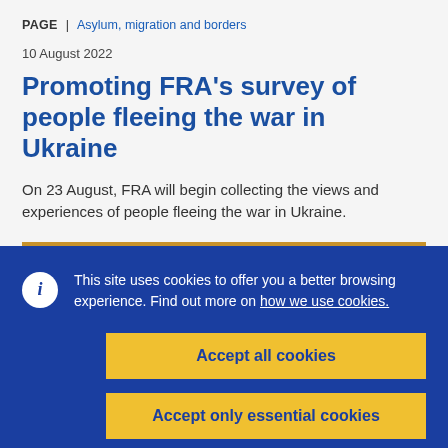PAGE | Asylum, migration and borders
10 August 2022
Promoting FRA's survey of people fleeing the war in Ukraine
On 23 August, FRA will begin collecting the views and experiences of people fleeing the war in Ukraine.
This site uses cookies to offer you a better browsing experience. Find out more on how we use cookies.
Accept all cookies
Accept only essential cookies